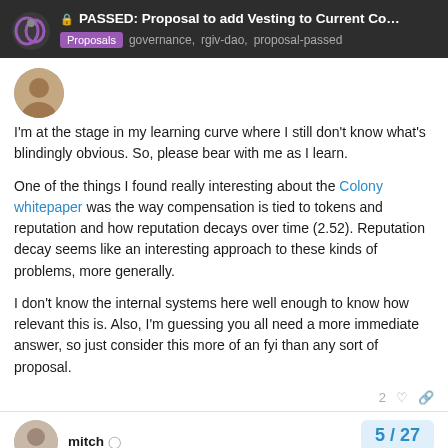PASSED: Proposal to add Vesting to Current Co... | Proposals   governance, rgiv-dao, proposal-passed
I'm at the stage in my learning curve where I still don't know what's blindingly obvious. So, please bear with me as I learn.

One of the things I found really interesting about the Colony whitepaper was the way compensation is tied to tokens and reputation and how reputation decays over time (2.52). Reputation decay seems like an interesting approach to these kinds of problems, more generally.

I don't know the internal systems here well enough to know how relevant this is. Also, I'm guessing you all need a more immediate answer, so just consider this more of an fyi than any sort of proposal.
mitch
5 / 27